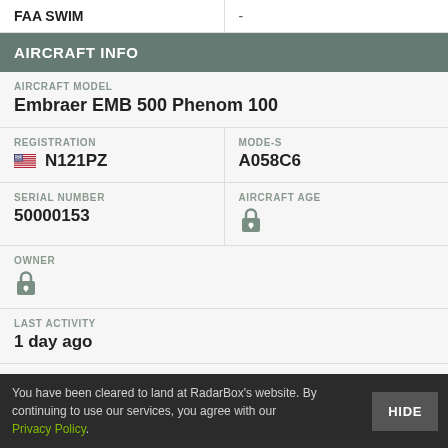| FAA SWIM |  |
| --- | --- |
| FAA SWIM | - |
AIRCRAFT INFO
| AIRCRAFT MODEL |
| --- |
| Embraer EMB 500 Phenom 100 |
| REGISTRATION | MODE-S |
| --- | --- |
| N121PZ | A058C6 |
| SERIAL NUMBER | AIRCRAFT AGE |
| --- | --- |
| 50000153 | (locked) |
| OWNER |
| --- |
| (locked) |
| LAST ACTIVITY |
| --- |
| 1 day ago |
LAST KNOWN LOCATION
You have been cleared to land at RadarBox's website. By continuing to use our services, you agree with our Privacy Policy.